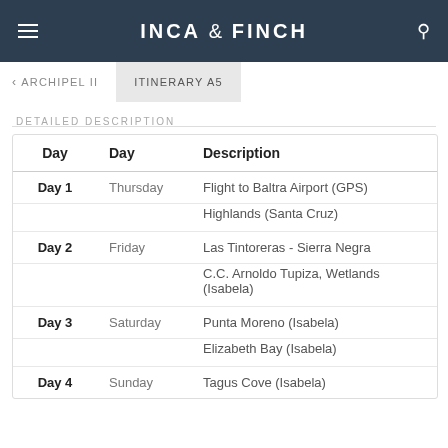INCA & FINCH
ARCHIPEL II  ITINERARY A5
DETAILED DESCRIPTION
| Day | Day | Description |
| --- | --- | --- |
| Day 1 | Thursday | Flight to Baltra Airport (GPS) |
|  |  | Highlands (Santa Cruz) |
| Day 2 | Friday | Las Tintoreras - Sierra Negra |
|  |  | C.C. Arnoldo Tupiza, Wetlands (Isabela) |
| Day 3 | Saturday | Punta Moreno (Isabela) |
|  |  | Elizabeth Bay (Isabela) |
| Day 4 | Sunday | Tagus Cove (Isabela) |